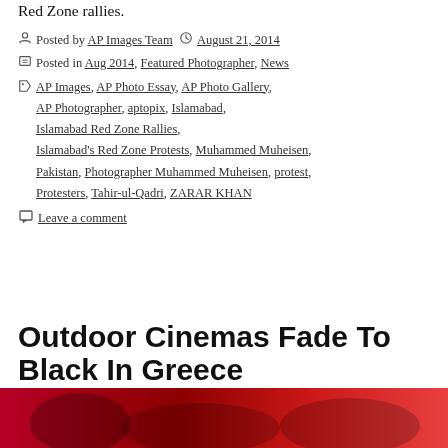Red Zone rallies.
Posted by AP Images Team  August 21, 2014
Posted in Aug 2014, Featured Photographer, News
Tags: AP Images, AP Photo Essay, AP Photo Gallery, AP Photographer, aptopix, Islamabad, Islamabad Red Zone Rallies, Islamabad's Red Zone Protests, Muhammed Muheisen, Pakistan, Photographer Muhammed Muheisen, protest, Protesters, Tahir-ul-Qadri, ZARAR KHAN
Leave a comment
Outdoor Cinemas Fade To Black In Greece
[Figure (photo): Red-toned photograph strip at the bottom of the page]